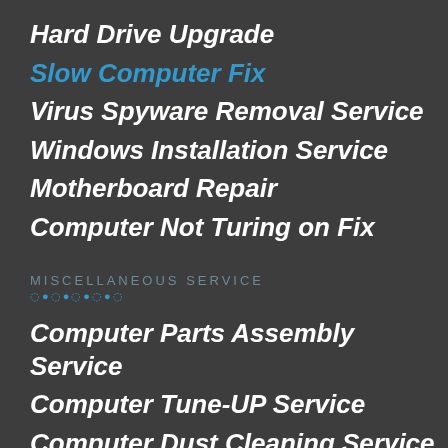Hard Drive Upgrade
Slow Computer Fix
Virus Spyware Removal Service
Windows Installation Service
Motherboard Repair
Computer Not Turing on Fix
MISCELLANEOUS SERVICE
Computer Parts Assembly Service
Computer Tune-UP Service
Computer Dust Cleaning Service
IT Consultation Service